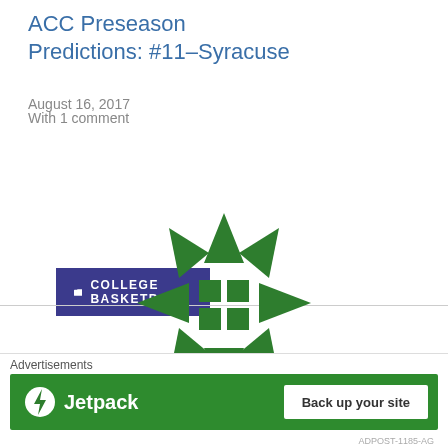ACC Preseason Predictions: #11-Syracuse
August 16, 2017
With 1 comment
COLLEGE BASKETBALL
[Figure (logo): Green geometric compass/star logo made of triangular and square shapes arranged symmetrically]
Advertisements
[Figure (screenshot): Jetpack advertisement banner: green background with Jetpack logo on left and 'Back up your site' button on right]